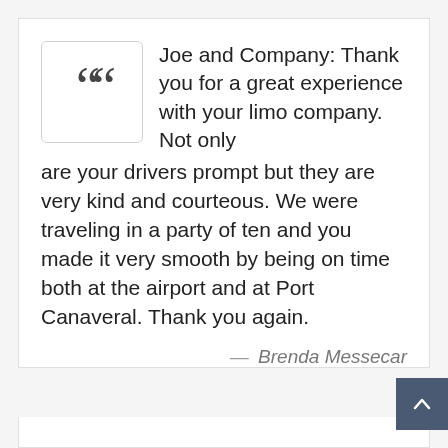Joe and Company: Thank you for a great experience with your limo company. Not only are your drivers prompt but they are very kind and courteous. We were traveling in a party of ten and you made it very smooth by being on time both at the airport and at Port Canaveral. Thank you again.
— Brenda Messecar